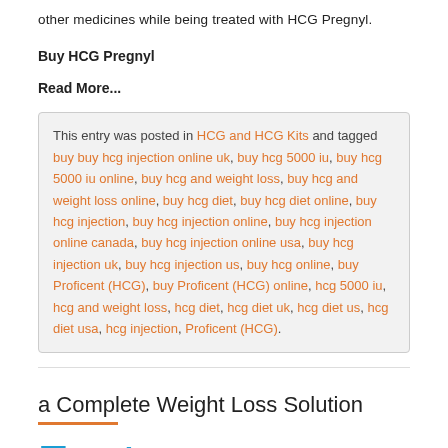other medicines while being treated with HCG Pregnyl.
Buy HCG Pregnyl
Read More...
This entry was posted in HCG and HCG Kits and tagged buy buy hcg injection online uk, buy hcg 5000 iu, buy hcg 5000 iu online, buy hcg and weight loss, buy hcg and weight loss online, buy hcg diet, buy hcg diet online, buy hcg injection, buy hcg injection online, buy hcg injection online canada, buy hcg injection online usa, buy hcg injection uk, buy hcg injection us, buy hcg online, buy Proficent (HCG), buy Proficent (HCG) online, hcg 5000 iu, hcg and weight loss, hcg diet, hcg diet uk, hcg diet us, hcg diet usa, hcg injection, Proficent (HCG).
a Complete Weight Loss Solution
Fast
Energy Refills